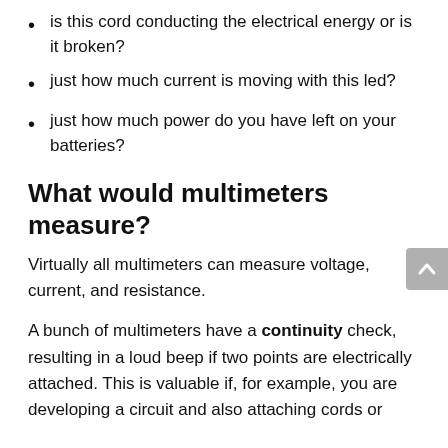is this cord conducting the electrical energy or is it broken?
just how much current is moving with this led?
just how much power do you have left on your batteries?
What would multimeters measure?
Virtually all multimeters can measure voltage, current, and resistance.
A bunch of multimeters have a continuity check, resulting in a loud beep if two points are electrically attached. This is valuable if, for example, you are developing a circuit and also attaching cords or